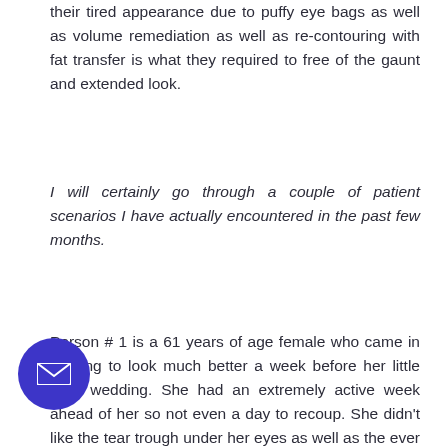their tired appearance due to puffy eye bags as well as volume remediation as well as re-contouring with fat transfer is what they required to free of the gaunt and extended look.
I will certainly go through a couple of patient scenarios I have actually encountered in the past few months.
Person # 1 is a 61 years of age female who came in wishing to look much better a week before her little girl's wedding. She had an extremely active week ahead of her so not even a day to recoup. She didn't like the tear trough under her eyes as well as the ever aggravating nasolabial line and jowling. Worst yet were the en in appearance of her cheek bone making look worn out. Her budget plan was extremely restricted as a lot of her savings
[Figure (other): Circular purple email button with white envelope icon in bottom-left area of page]